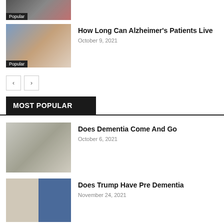[Figure (photo): Thumbnail showing two people, partially visible at top, with Popular badge]
[Figure (photo): Nurse and elderly patient smiling in kitchen setting, with Popular badge]
How Long Can Alzheimer's Patients Live
October 9, 2021
[Figure (other): Pagination buttons with left and right arrows]
MOST POPULAR
[Figure (photo): Elderly woman smiling, sitting, wearing light jacket]
Does Dementia Come And Go
October 6, 2021
[Figure (photo): Political figures side by side - Biden and Trump]
Does Trump Have Pre Dementia
November 24, 2021